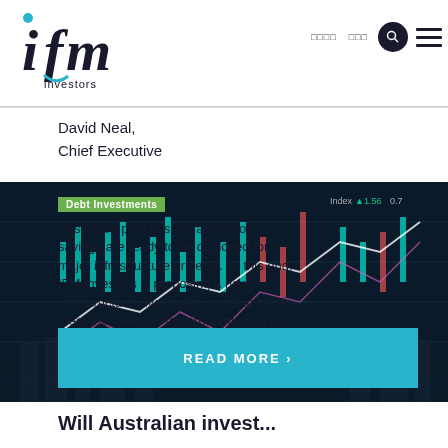IFM Investors — navigation header
David Neal,
Chief Executive
Debt Investments
Australia's pool of superannuation savings are ready to be deployed for major infrastructure projects. To this end, IFM Investors is proposing a new infrastructure investment model to better meet the needs of governments and the public.
READ MORE ›
Will Australian investors...